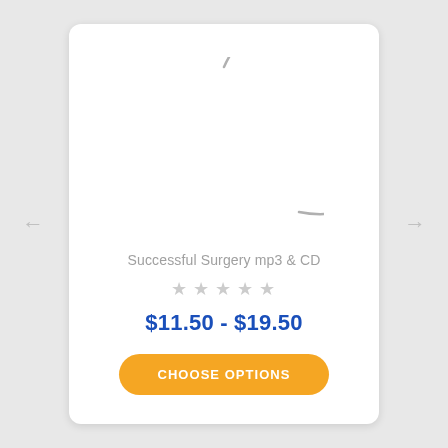[Figure (illustration): Loading spinner / crescent arc in gray, representing a product image placeholder]
Successful Surgery mp3 & CD
[Figure (other): 5 empty/unfilled star rating icons in light gray]
$11.50 - $19.50
CHOOSE OPTIONS